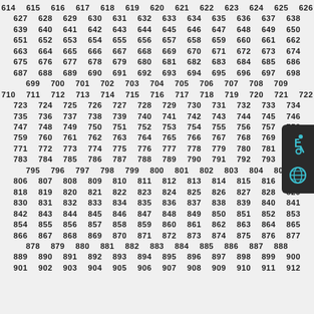614 615 616 617 618 619 620 621 622 623 624 625 626 627 628 629 630 631 632 633 634 635 636 637 638 639 640 641 642 643 644 645 646 647 648 649 650 651 652 653 654 655 656 657 658 659 660 661 662 663 664 665 666 667 668 669 670 671 672 673 674 675 676 677 678 679 680 681 682 683 684 685 686 687 688 689 690 691 692 693 694 695 696 697 698 699 700 701 702 703 704 705 706 707 708 709 710 711 712 713 714 715 716 717 718 719 720 721 722 723 724 725 726 727 728 729 730 731 732 733 734 735 736 737 738 739 740 741 742 743 744 745 746 747 748 749 750 751 752 753 754 755 756 757 758 759 760 761 762 763 764 765 766 767 768 769 770 771 772 773 774 775 776 777 778 779 780 781 782 783 784 785 786 787 788 789 790 791 792 793 794 795 796 797 798 799 800 801 802 803 804 805 806 807 808 809 810 811 812 813 814 815 816 817 818 819 820 821 822 823 824 825 826 827 828 829 830 831 832 833 834 835 836 837 838 839 840 841 842 843 844 845 846 847 848 849 850 851 852 853 854 855 856 857 858 859 860 861 862 863 864 865 866 867 868 869 870 871 872 873 874 875 876 877 878 879 880 881 882 883 884 885 886 887 888 889 890 891 892 893 894 895 896 897 898 899 900 901 902 903 904 905 906 907 908 909 910 911 912
[Figure (other): Accessibility widget with wheelchair icon and globe icon on dark rounded background, positioned on the right edge]